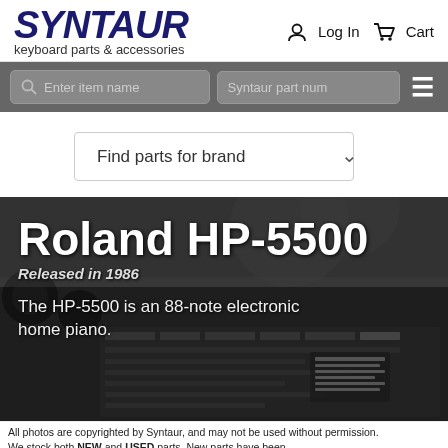SYNTAUR keyboard parts & accessories
[Figure (screenshot): Website header with SYNTAUR logo, Log In and Cart links, search bar with item name and part number inputs, hamburger menu, and Find parts for brand dropdown]
[Figure (photo): Roland HP-5500 keyboard/synthesizer close-up photo with dark background showing controls and panel]
Roland HP-5500
Released in 1986
The HP-5500 is an 88-note electronic home piano.
All photos are copyrighted by Syntaur, and may not be used without permission.
We stock both NEW and USED parts. New parts have been...